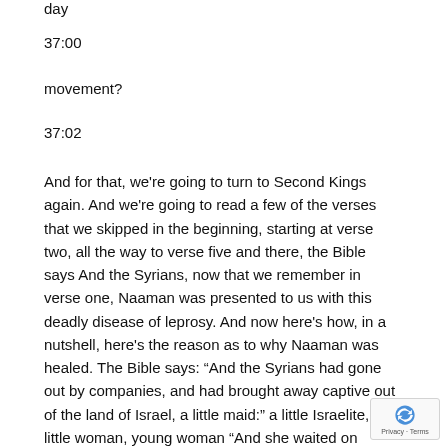day
37:00
movement?
37:02
And for that, we're going to turn to Second Kings again. And we're going to read a few of the verses that we skipped in the beginning, starting at verse two, all the way to verse five and there, the Bible says And the Syrians, now that we remember in verse one, Naaman was presented to us with this deadly disease of leprosy. And now here's how, in a nutshell, here's the reason as to why Naaman was healed. The Bible says: “And the Syrians had gone out by companies, and had brought away captive out of the land of Israel, a little maid:” a little Israelite, a little woman, young woman “And she waited on Naaman’s wife. And she said un her mistress, would God my lord were with the prophet